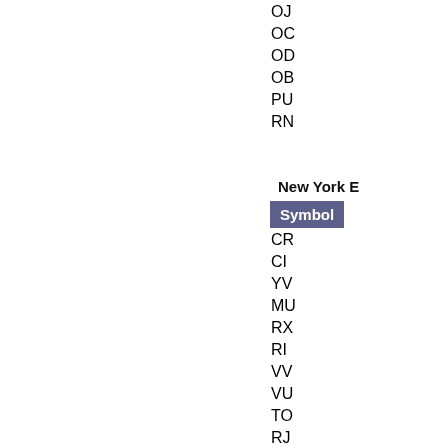| Symbol |
| --- |
| OJ |
| OC |
| OD |
| OB |
| PU |
| RN |
New York E
| Symbol |
| --- |
| CR |
| CI |
| YV |
| MU |
| RX |
| RI |
| VV |
| VU |
| TO |
| RJ |
| RV |
| RG |